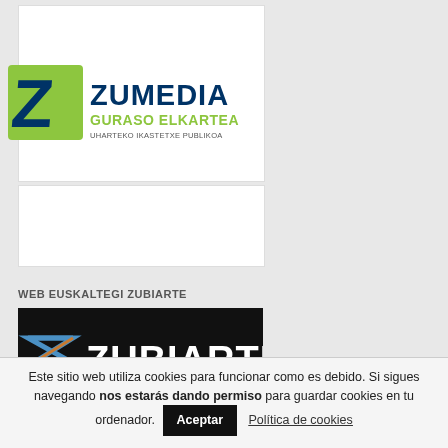[Figure (logo): Zumedia Guraso Elkartea logo - green Z icon with dark blue text ZUMEDIA, green text GURASO ELKARTEA, small text UHARTEKO IKASTETXE PUBLIKOA]
WEB EUSKALTEGI ZUBIARTE
[Figure (logo): Zubiarte logo - dark background with stylized Z arrow icon and white text ZUBIARTE]
Este sitio web utiliza cookies para funcionar como es debido. Si sigues navegando nos estarás dando permiso para guardar cookies en tu ordenador. Aceptar Política de cookies